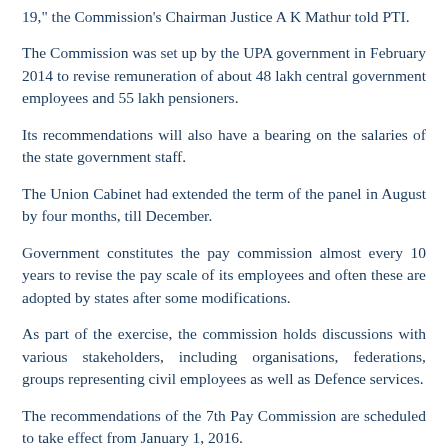19," the Commission's Chairman Justice A K Mathur told PTI.
The Commission was set up by the UPA government in February 2014 to revise remuneration of about 48 lakh central government employees and 55 lakh pensioners.
Its recommendations will also have a bearing on the salaries of the state government staff.
The Union Cabinet had extended the term of the panel in August by four months, till December.
Government constitutes the pay commission almost every 10 years to revise the pay scale of its employees and often these are adopted by states after some modifications.
As part of the exercise, the commission holds discussions with various stakeholders, including organisations, federations, groups representing civil employees as well as Defence services.
The recommendations of the 7th Pay Commission are scheduled to take effect from January 1, 2016.